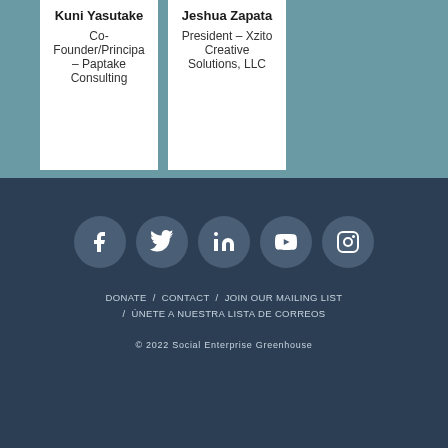Kuni Yasutake
Co-Founder/Principal – Paptake Consulting
Jeshua Zapata
President – Xzito Creative Solutions, LLC
[Figure (infographic): Five social media icons in grey circles: Facebook, Twitter, LinkedIn, YouTube, Instagram]
DONATE / CONTACT / JOIN OUR MAILING LIST / ÚNETE A NUESTRA LISTA DE CORREOS
© 2022 Social Enterprise Greenhouse